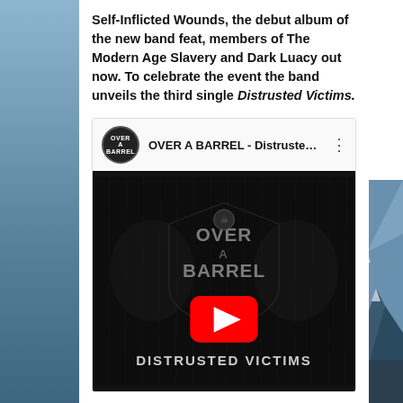Self-Inflicted Wounds, the debut album of the new band feat, members of The Modern Age Slavery and Dark Luacy out now. To celebrate the event the band unveils the third single Distrusted Victims.
[Figure (screenshot): YouTube video embed showing 'OVER A BARREL - Distrusted ...' with the Over a Barrel band logo in a circle, three-dot menu icon, and a dark metal band album art thumbnail with the text 'OVER A BARREL' and 'DISTRUSTED VICTIMS' with a large red YouTube play button overlay]